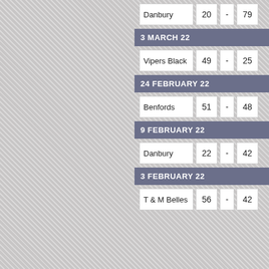| Team | Score1 | - | Score2 |
| --- | --- | --- | --- |
| Danbury | 20 | - | 79 |
3 MARCH 22
| Team | Score1 | - | Score2 |
| --- | --- | --- | --- |
| Vipers Black | 49 | - | 25 |
24 FEBRUARY 22
| Team | Score1 | - | Score2 |
| --- | --- | --- | --- |
| Benfords | 51 | - | 48 |
9 FEBRUARY 22
| Team | Score1 | - | Score2 |
| --- | --- | --- | --- |
| Danbury | 22 | - | 42 |
3 FEBRUARY 22
| Team | Score1 | - | Score2 |
| --- | --- | --- | --- |
| T & M Belles | 56 | - | 42 |